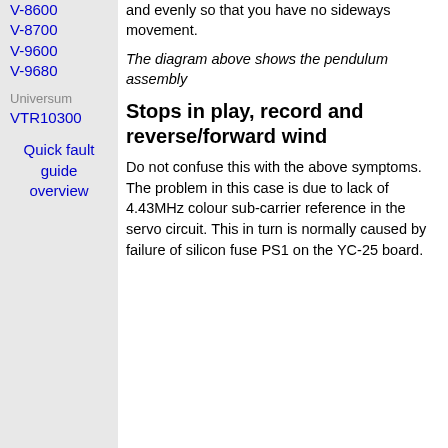V-8600
V-8700
V-9600
V-9680
Universum
VTR10300
Quick fault guide overview
and evenly so that you have no sideways movement.
The diagram above shows the pendulum assembly
Stops in play, record and reverse/forward wind
Do not confuse this with the above symptoms. The problem in this case is due to lack of 4.43MHz colour sub-carrier reference in the servo circuit. This in turn is normally caused by failure of silicon fuse PS1 on the YC-25 board.